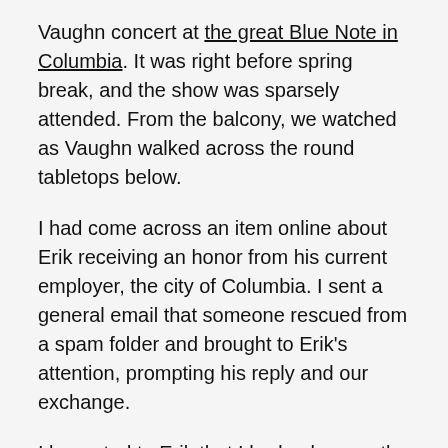Vaughn concert at the great Blue Note in Columbia. It was right before spring break, and the show was sparsely attended. From the balcony, we watched as Vaughn walked across the round tabletops below.
I had come across an item online about Erik receiving an honor from his current employer, the city of Columbia. I sent a general email that someone rescued from a spam folder and brought to Erik's attention, prompting his reply and our exchange.
I lamented to Erik that I had only recently learned of the death — 15 years earlier — of our former boss, who apparently died of a massive heart attack while vacationing in Florida. He was only 44. Erik and I agreed, Glen Nolte was a really nice guy.
Erik just did things that no one else I knew did, and he told of